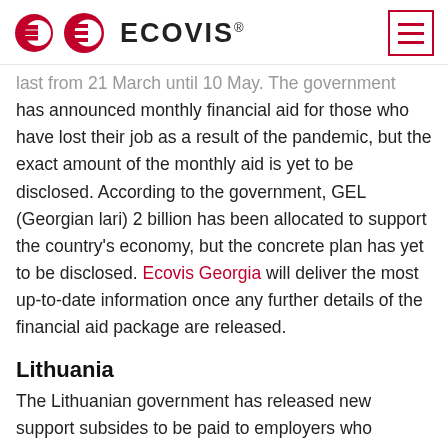ECOVIS®
last from 21 March until 10 May. The government has announced monthly financial aid for those who have lost their job as a result of the pandemic, but the exact amount of the monthly aid is yet to be disclosed. According to the government, GEL (Georgian lari) 2 billion has been allocated to support the country's economy, but the concrete plan has yet to be disclosed. Ecovis Georgia will deliver the most up-to-date information once any further details of the financial aid package are released.
Lithuania
The Lithuanian government has released new support subsides to be paid to employers who declare downtime during quarantine due to the